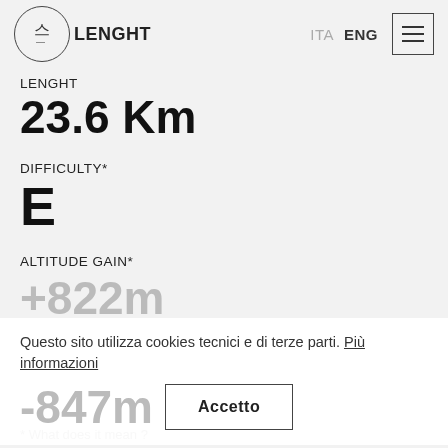[Figure (logo): Circular logo with Korean character and dashes, followed by text LENGHT]
LENGHT
23.6 Km
DIFFICULTY*
E
ALTITUDE GAIN*
Questo sito utilizza cookies tecnici e di terze parti. Più informazioni
+822m
-847m
Accetto
* What does it mean ?